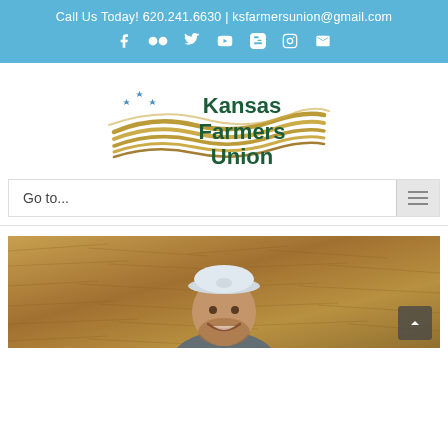Call Us Today! 620.241.6630 | ksfarmersunion@gmail.com
[Figure (logo): Kansas Farmers Union logo with golden wave/flag design and three blue stars, dark green text reading Kansas Farmers Union]
Go to...
[Figure (photo): A smiling man wearing a white baseball cap and gray jacket, photographed in front of a hay bale background]